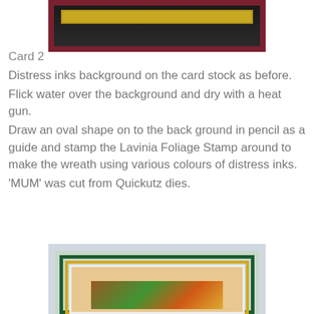[Figure (photo): Top portion of a framed card with dark/maroon border and yellow bar visible, shown cropped at top of page]
Card 2
Distress inks background on the card stock as before.
Flick water over the background and dry with a heat gun.
Draw an oval shape on to the back ground in pencil as a guide and stamp the Lavinia Foliage Stamp around to make the wreath using various colours of distress inks.
'MUM' was cut from Quickutz dies.
[Figure (photo): Bottom portion showing a framed card with dark green outer border, yellow inner border, white mat, and autumn leaf decoration inside]